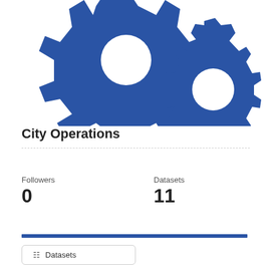[Figure (illustration): Two large blue interlocking gear icons on a white background, partially cropped at top and right edges]
City Operations
Followers
0
Datasets
11
Datasets
Activity Stream
About